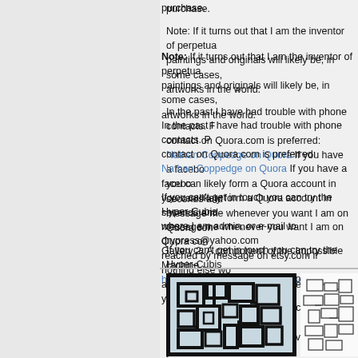purchase.
Note: If it turns out that I am the inventor of perpetua paintings and originals will likely be, in some cases, artworks in the world.
In the past I have had trouble with phone contacts. contact on Quora.com is preferred: Nathan Coppedge on Quora If you have a facebook you can likely form a Quora account in seconds and message me whenever you want I am on Quora con
If you can't get in touch you can try the Hyper-Cubis where I am admin, or e-mail to drypress@yahoo.com reached by message on etsy.com if nothing else wo access my messages there every few years.
Gallery 2: A component of the Impossible Machine, http://www.impossiblemachine.com
[Figure (photo): Framed black and white abstract geometric artwork resembling a maze or circuit pattern, displayed in a dark frame]
[Figure (illustration): Line drawing of an abstract mechanical or architectural structure with rectangular shapes and interconnected lines]